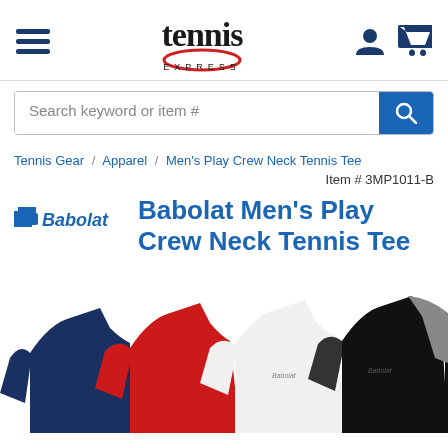Tennis Express — navigation header with hamburger menu, logo, user icon, cart icon
Search keyword or item #
Tennis Gear / Apparel / Men's Play Crew Neck Tennis Tee
Item # 3MP1011-B
Babolat Men's Play Crew Neck Tennis Tee
[Figure (photo): Three Babolat Men's Play Crew Neck Tennis Tees displayed side by side: navy/blue on the left, red in the middle, white in the center-right, and black/grey on the far right. Each shirt has the Babolat logo on the chest.]